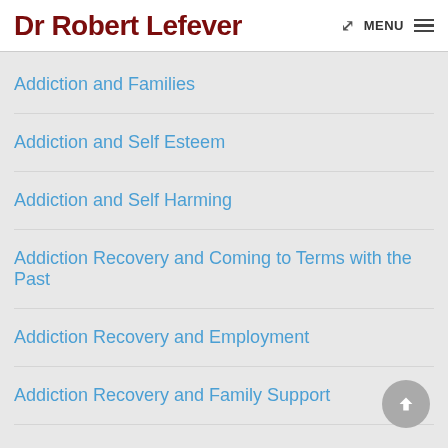Dr Robert Lefever
Addiction and Families
Addiction and Self Esteem
Addiction and Self Harming
Addiction Recovery and Coming to Terms with the Past
Addiction Recovery and Employment
Addiction Recovery and Family Support